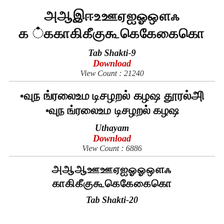[Figure (other): Tamil font sample text showing various Tamil characters in Tab Shakti-9 font style]
Tab Shakti-9
Download
View Count : 21240
[Figure (other): Tamil font sample text showing various Tamil characters in Uthayam font style]
Uthayam
Download
View Count : 6886
[Figure (other): Tamil font sample text showing various Tamil characters in Tab Shakti-20 font style]
Tab Shakti-20